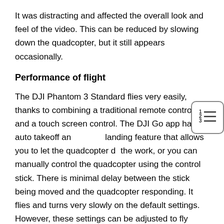It was distracting and affected the overall look and feel of the video. This can be reduced by slowing down the quadcopter, but it still appears occasionally.
Performance of flight
The DJI Phantom 3 Standard flies very easily, thanks to combining a traditional remote controller and a touch screen control. The DJI Go app has an auto takeoff and landing feature that allows you to let the quadcopter do the work, or you can manually control the quadcopter using the control stick. There is minimal delay between the stick being moved and the quadcopter responding. It flies and turns very slowly on the default settings. However, these settings can be adjusted to fly faster if needed in the DJI Go app.
DJI claims that it can reach up to 35 miles horizontally and